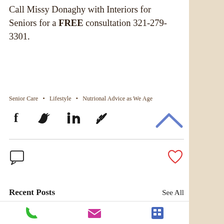Call Missy Donaghy with Interiors for Seniors for a FREE consultation 321-279-3301.
Senior Care • Lifestyle • Nutrional Advice as We Age
[Figure (infographic): Social media share icons: Facebook, Twitter, LinkedIn, link/chain icon, and a blue chevron/up arrow button]
[Figure (infographic): Comment bubble icon on left, red heart/like icon on right]
Recent Posts
See All
[Figure (photo): American flag against a blue sky with clouds]
[Figure (infographic): Bottom navigation bar with green phone icon, pink/magenta email envelope icon, and blue grid/menu icon]